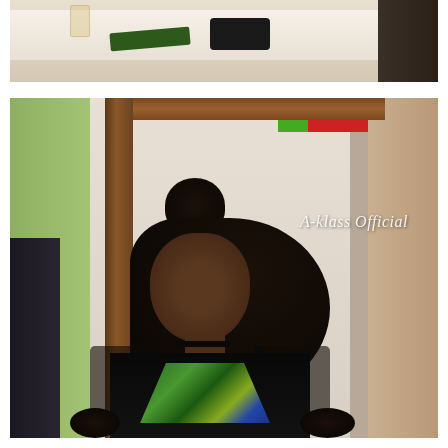[Figure (photo): Top portion of a photograph showing a table with green brochures, a black smartphone, a glass, and partially visible dark-clothed person on the right edge]
[Figure (photo): Portrait photograph of a young woman with voluminous kinky curly hair styled half-up with a bun on top. She wears a black off-shoulder dress with African print (ankara) bodice featuring green, blue and yellow patterns, black mesh sleeves, feather trim, and a choker necklace. She has pearl stud earrings. Background shows a room with wooden frame, green and beige walls. Watermark reads 'A-klass Official' in white italic text top right.]